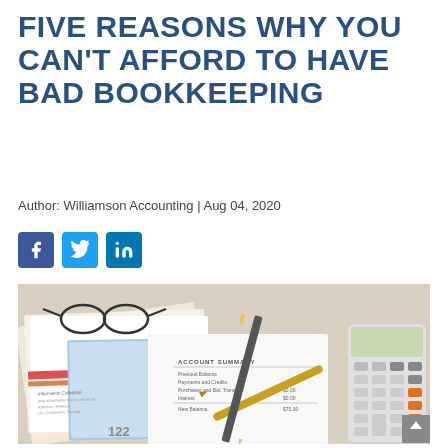FIVE REASONS WHY YOU CAN'T AFFORD TO HAVE BAD BOOKKEEPING
Author: Williamson Accounting | Aug 04, 2020
[Figure (other): Social media share icons: Facebook (blue), Twitter (light blue), LinkedIn (blue)]
[Figure (photo): Photo of stacked financial documents, account summary statement, glasses, pen, pencil, and a calculator on a desk]